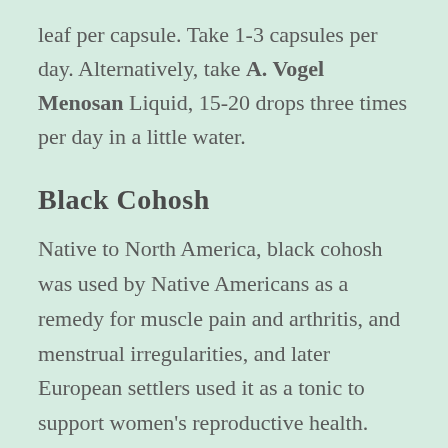leaf per capsule. Take 1-3 capsules per day. Alternatively, take A. Vogel Menosan Liquid, 15-20 drops three times per day in a little water.
Black Cohosh
Native to North America, black cohosh was used by Native Americans as a remedy for muscle pain and arthritis, and menstrual irregularities, and later European settlers used it as a tonic to support women's reproductive health. Studies have found varying results for the plant's effects on human physiology as to whether, for example, it raises the body's levels of